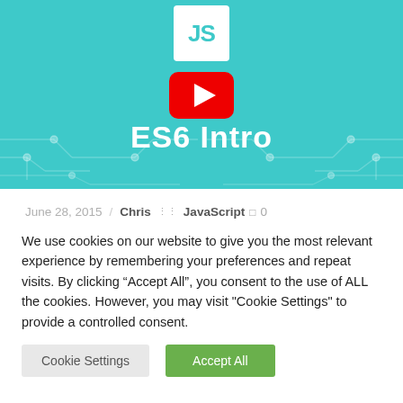[Figure (screenshot): JavaScript ES6 Intro video thumbnail with teal circuit board background, JS badge, YouTube play button overlay, and white text reading 'JavaScript ES6 Intro']
June 28, 2015 / Chris ::: JavaScript □ 0
We use cookies on our website to give you the most relevant experience by remembering your preferences and repeat visits. By clicking “Accept All”, you consent to the use of ALL the cookies. However, you may visit "Cookie Settings" to provide a controlled consent.